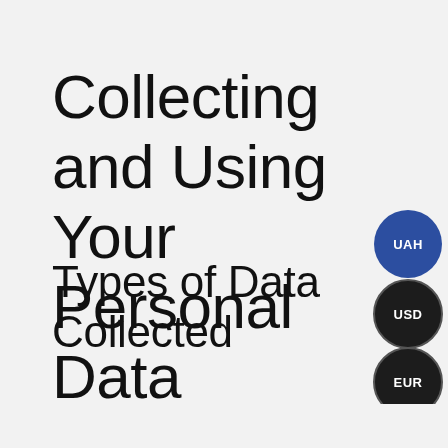Collecting and Using Your Personal Data
Types of Data Collected
[Figure (infographic): Three overlapping circular badges showing currency codes: UAH (blue filled circle), USD (dark circle), EUR (dark circle), stacked vertically on the right side of the page]